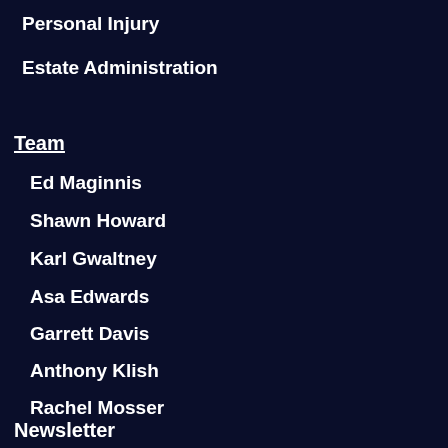Personal Injury
Estate Administration
Team
Ed Maginnis
Shawn Howard
Karl Gwaltney
Asa Edwards
Garrett Davis
Anthony Klish
Rachel Mosser
Jordan Godwin
Newsletter